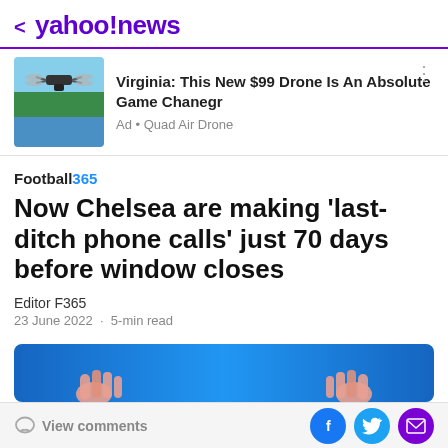< yahoo!news
[Figure (photo): Advertisement: drone flying over water with trees in background]
Virginia: This New $99 Drone Is An Absolute Game Chanegr
Ad • Quad Air Drone
Football365
Now Chelsea are making ‘last-ditch phone calls’ just 70 days before window closes
Editor F365
23 June 2022 · 5-min read
[Figure (photo): Partial image of hands against blue background, article hero image]
View comments